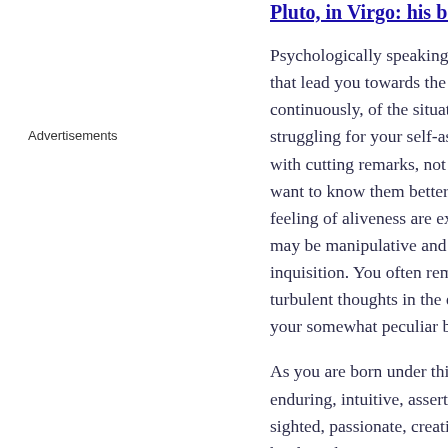Pluto, in Virgo: his beha…
Psychologically speaking, you that lead you towards the continuously, of the situation struggling for your self-asser with cutting remarks, not beca want to know them better th feeling of aliveness are expe may be manipulative and yo inquisition. You often remain s turbulent thoughts in the dep your somewhat peculiar beha
As you are born under this sig enduring, intuitive, assertive, sighted, passionate, creative hard-working, persevering, i ambitious, instinctive, tenac competitive. But you may a anxious, tyrannical, perverse
Advertisements